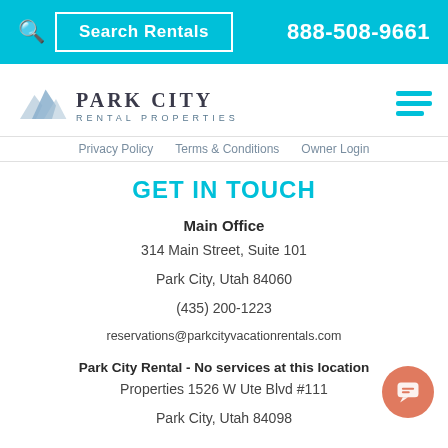Search Rentals  888-508-9661
[Figure (logo): Park City Rental Properties logo with mountain peaks illustration]
Privacy Policy   Terms & Conditions   Owner Login
GET IN TOUCH
Main Office
314 Main Street, Suite 101
Park City, Utah 84060
(435) 200-1223
reservations@parkcityvacationrentals.com
Park City Rental - No services at this location
Properties 1526 W Ute Blvd #111
Park City, Utah 84098